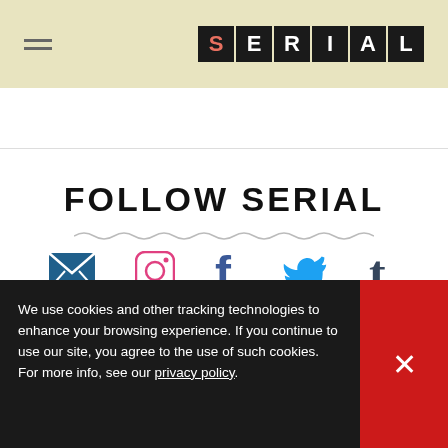SERIAL
FOLLOW SERIAL
[Figure (infographic): Social media icons: email (envelope), Instagram, Facebook, Twitter, Tumblr]
[Figure (other): Partial Serial app icon and quote/chat icon visible in gray footer area]
We use cookies and other tracking technologies to enhance your browsing experience. If you continue to use our site, you agree to the use of such cookies. For more info, see our privacy policy.